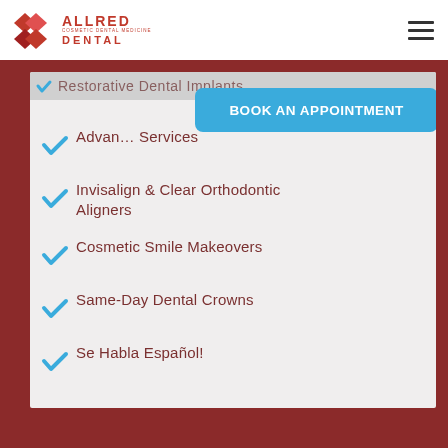[Figure (logo): Allred Dental logo with red diamond shapes and text]
BOOK AN APPOINTMENT
Restorative Dental Implants
Advanced Services
Invisalign & Clear Orthodontic Aligners
Cosmetic Smile Makeovers
Same-Day Dental Crowns
Se Habla Español!